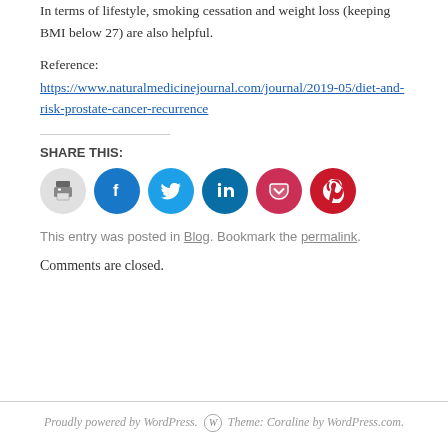In terms of lifestyle, smoking cessation and weight loss (keeping BMI below 27) are also helpful.
Reference:
https://www.naturalmedicinejournal.com/journal/2019-05/diet-and-risk-prostate-cancer-recurrence
SHARE THIS:
[Figure (other): Social share icons: print, Facebook, Twitter, LinkedIn, Pocket, Pinterest]
This entry was posted in Blog. Bookmark the permalink.
Comments are closed.
Proudly powered by WordPress. Theme: Coraline by WordPress.com.